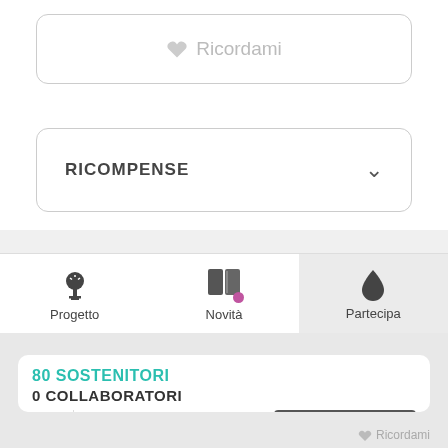♥ Ricordami
RICOMPENSE
[Figure (screenshot): Navigation tab bar with three tabs: Progetto (bulb icon), Novità (book icon with pink dot), Partecipa (drop icon, active/highlighted)]
80 SOSTENITORI
0 COLLABORATORI
[Figure (line-chart): Line chart showing Accumulato and Ideale series, y-axis labels 22,000 and 20,000, with legend box showing Accumulato (purple rect) and Ideale (teal line)]
♥ Ricordami